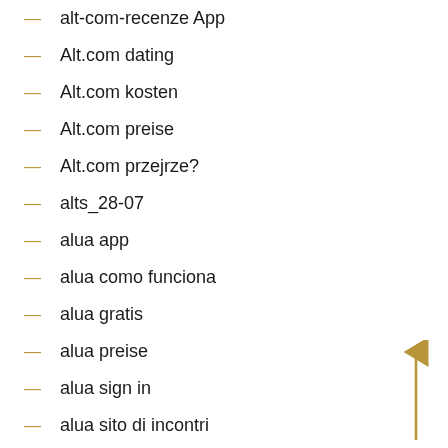alt-com-recenze App
Alt.com dating
Alt.com kosten
Alt.com preise
Alt.com przejrze?
alts_28-07
alua app
alua como funciona
alua gratis
alua preise
alua sign in
alua sito di incontri
[Figure (illustration): A golden/yellow upward-pointing arrow on the right side of the page]